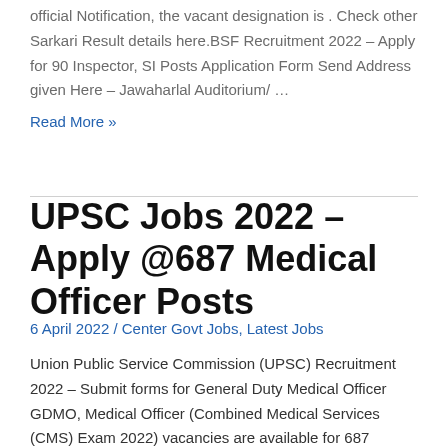official Notification, the vacant designation is . Check other Sarkari Result details here.BSF Recruitment 2022 – Apply for 90 Inspector, SI Posts Application Form Send Address given Here – Jawaharlal Auditorium/ …
Read More »
UPSC Jobs 2022 – Apply @687 Medical Officer Posts
6 April 2022 / Center Govt Jobs, Latest Jobs
Union Public Service Commission (UPSC) Recruitment 2022 – Submit forms for General Duty Medical Officer GDMO, Medical Officer (Combined Medical Services (CMS) Exam 2022) vacancies are available for 687 Vacancies. As per the official Notification, the vacant designation is . Check other Sarkari Result details here.